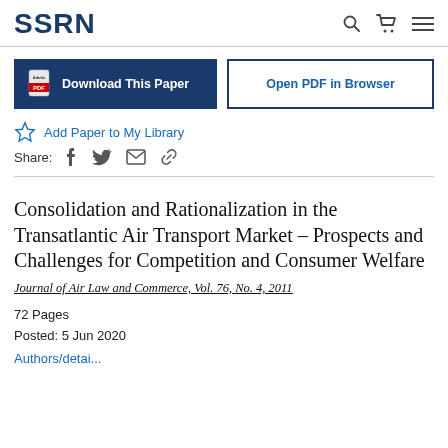SSRN
Download This Paper   Open PDF in Browser
Add Paper to My Library
Share:
Consolidation and Rationalization in the Transatlantic Air Transport Market – Prospects and Challenges for Competition and Consumer Welfare
Journal of Air Law and Commerce, Vol. 76, No. 4, 2011
72 Pages
Posted: 5 Jun 2020
Authors/details (truncated)